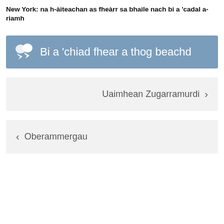New York: na h-àiteachan as fheàrr sa bhaile nach bi a 'cadal a-riamh
Bi a 'chiad fhear a thog beachd
Uaimhean Zugarramurdi >
< Oberammergau